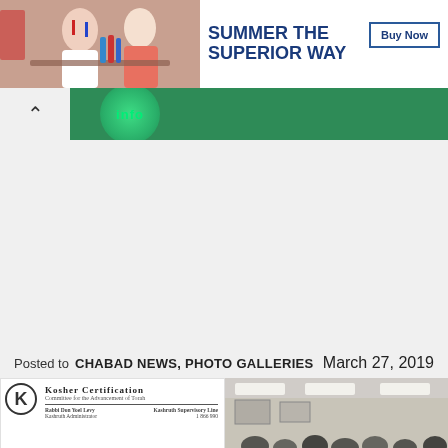[Figure (photo): Advertisement banner: photo of people at outdoor dining on left, text 'SUMMER THE SUPERIOR WAY' in bold blue on white background, with 'Buy Now' button on right]
[Figure (screenshot): Green navigation banner with collapse chevron button on left and green info circle icon partially visible on right]
Posted to CHABAD NEWS, PHOTO GALLERIES    March 27, 2019
[Figure (photo): Kosher Certification document showing the K logo on the left, 'Kosher Certification' title, committee tagline, and signatures from Rabbi Don Yoel Levi and another signatory]
[Figure (photo): Photo of group of people gathered in a room with ceiling lights visible]